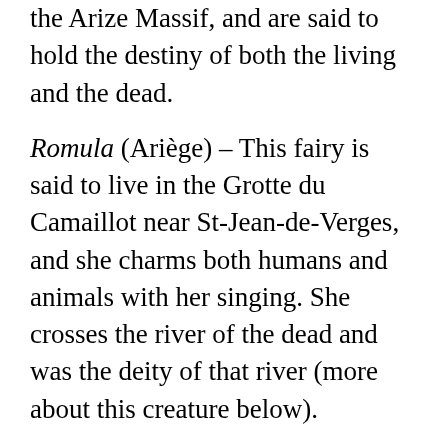the Arize Massif, and are said to hold the destiny of both the living and the dead.
Romula (Ariège) – This fairy is said to live in the Grotte du Camaillot near St-Jean-de-Verges, and she charms both humans and animals with her singing. She crosses the river of the dead and was the deity of that river (more about this creature below).
Roneca (Aude) – A terror of children, she is said to haunt various valleys in the Aude with a candle and a large sack on her back to collect infants who are bad.
Saurimonda (Aude) – Dwelling in the